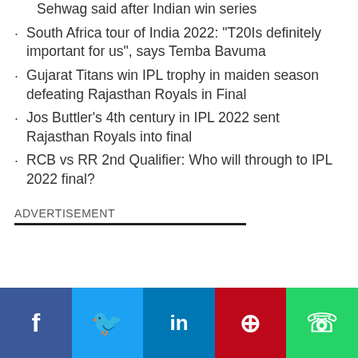Sehwag said after Indian win series
South Africa tour of India 2022: “T20Is definitely important for us”, says Temba Bavuma
Gujarat Titans win IPL trophy in maiden season defeating Rajasthan Royals in Final
Jos Buttler’s 4th century in IPL 2022 sent Rajasthan Royals into final
RCB vs RR 2nd Qualifier: Who will through to IPL 2022 final?
ADVERTISEMENT